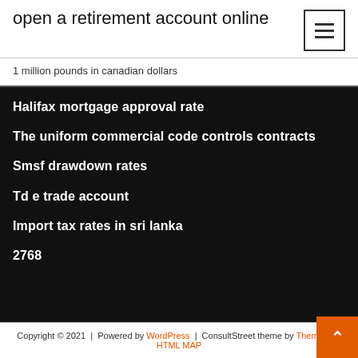open a retirement account online
1 million pounds in canadian dollars
Halifax mortgage approval rate
The uniform commercial code controls contracts
Smsf drawdown rates
Td e trade account
Import tax rates in sri lanka
2768
Copyright © 2021 | Powered by WordPress | ConsultStreet theme by ThemeArile HTML MAP